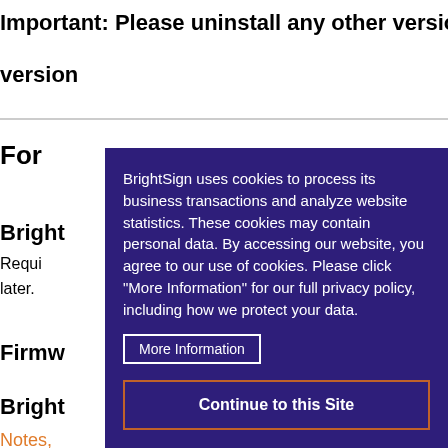Important: Please uninstall any other version of BrightA
version
For
Bright
Requi
later.
Firmw
Bright
Notes,
[Figure (screenshot): Cookie consent modal overlay with dark purple background. Text reads: BrightSign uses cookies to process its business transactions and analyze website statistics. These cookies may contain personal data. By accessing our website, you agree to our use of cookies. Please click "More Information" for our full privacy policy, including how we protect your data. Contains a 'More Information' button with white border and a 'Continue to this Site' button with orange border.]